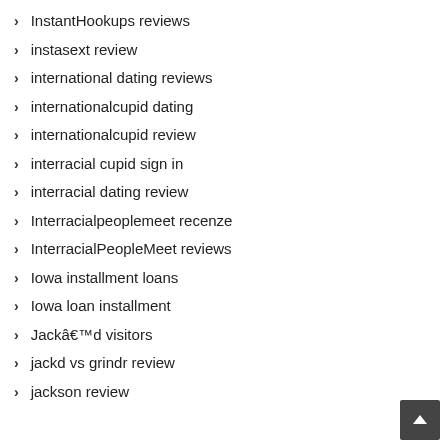InstantHookups reviews
instasext review
international dating reviews
internationalcupid dating
internationalcupid review
interracial cupid sign in
interracial dating review
Interracialpeoplemeet recenze
InterracialPeopleMeet reviews
Iowa installment loans
Iowa loan installment
Jackâ€™d visitors
jackd vs grindr review
jackson review